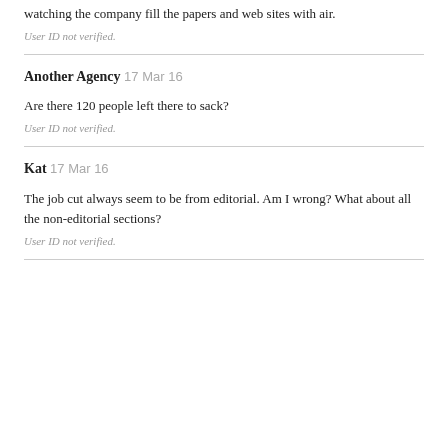watching the company fill the papers and web sites with air.
User ID not verified.
Another Agency  17 Mar 16
Are there 120 people left there to sack?
User ID not verified.
Kat  17 Mar 16
The job cut always seem to be from editorial. Am I wrong? What about all the non-editorial sections?
User ID not verified.